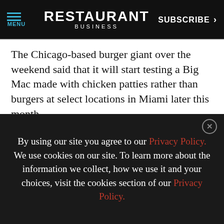RESTAURANT BUSINESS | MENU | SUBSCRIBE
The Chicago-based burger giant over the weekend said that it will start testing a Big Mac made with chicken patties rather than burgers at select locations in Miami later this month.
The Chicken Big Mac will be made with crispy tempura chicken patties along with the chain’s Big Mac sauce pickle…
[Figure (photo): Brakebush advertisement banner: dark blue background with Brakebush chicken logo and text MEET THE CHICKEN EXPERTS on white background, yellow border]
By using our site you agree to our Privacy Policy. We use cookies on our site. To learn more about the information we collect, how we use it and your choices, visit the cookies section of our Privacy Policy.